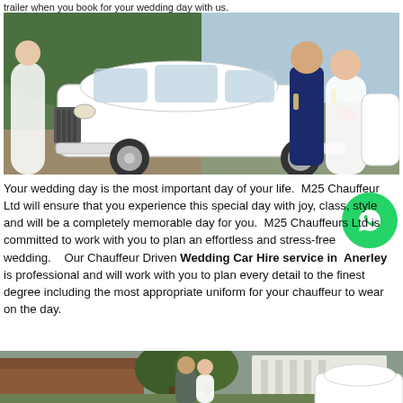trailer when you book for your wedding day with us.
[Figure (photo): A composite photo: on the left a white Rolls-Royce Phantom wedding car parked on a gravel path with a bride in white dress visible at the far left, and on the right a groom in a navy suit and a bride in a white dress standing next to a white luxury car holding drinks, outdoors with trees in the background.]
Your wedding day is the most important day of your life.  M25 Chauffeur Ltd will ensure that you experience this special day with joy, class, style and will be a completely memorable day for you.  M25 Chauffeurs Ltd is committed to work with you to plan an effortless and stress-free wedding.   Our Chauffeur Driven Wedding Car Hire service in  Anerley is professional and will work with you to plan every detail to the finest degree including the most appropriate uniform for your chauffeur to wear on the day.
[Figure (photo): A photo of a bride and groom kissing outside a venue, with a white luxury car on the right side, trees and a white building with columns visible in the background.]